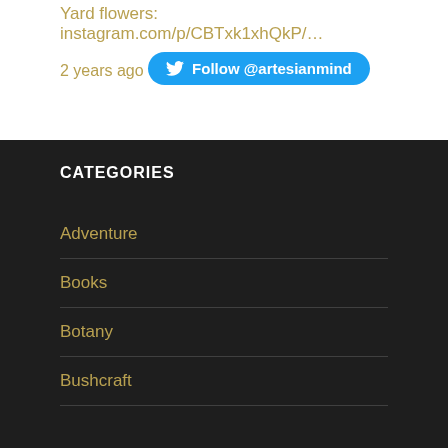Yard flowers: instagram.com/p/CBTxk1xhQkP/…
2 years ago
Follow @artesianmind
CATEGORIES
Adventure
Books
Botany
Bushcraft